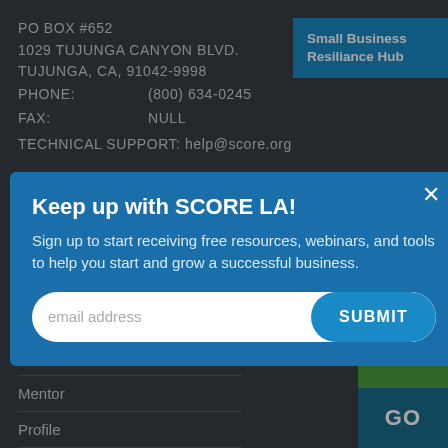PO BOX #652
1029 TUJUNGA CANYON BLVD.
TUJUNGA, CA, 91042-9998
PHONE:   (800) 634-0245
FAX:   NULL
TECHNICAL SUPPORT: help@score.org
[Figure (other): Small Business Resiliance Hub blue badge/button in top right corner]
[Figure (screenshot): Modal popup overlay with blue background: 'Keep up with SCORE LA!' header, subscription text, email input field, and SUBMIT button]
Mentor
Browse
Mentor
Profile